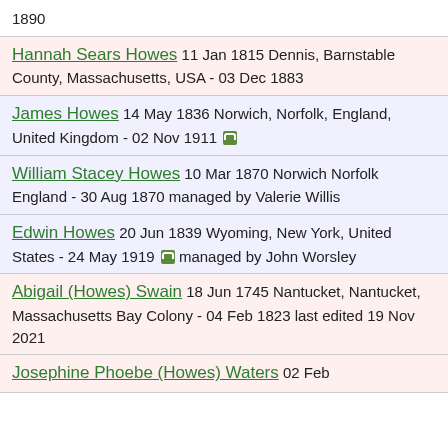1890
Hannah Sears Howes 11 Jan 1815 Dennis, Barnstable County, Massachusetts, USA - 03 Dec 1883
James Howes 14 May 1836 Norwich, Norfolk, England, United Kingdom - 02 Nov 1911
William Stacey Howes 10 Mar 1870 Norwich Norfolk England - 30 Aug 1870 managed by Valerie Willis
Edwin Howes 20 Jun 1839 Wyoming, New York, United States - 24 May 1919 managed by John Worsley
Abigail (Howes) Swain 18 Jun 1745 Nantucket, Nantucket, Massachusetts Bay Colony - 04 Feb 1823 last edited 19 Nov 2021
Josephine Phoebe (Howes) Waters 02 Feb